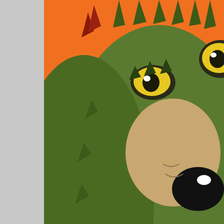[Figure (illustration): Cartoon illustration of a fuzzy green creature with large yellow eyes and a big black nose, peeking over an orange background, with brown paw fingers visible at the bottom.]
[Figure (thumbnail): Small thumbnail of the same cartoon green creature with yellow eyes on orange background.]
This One Is For Everybody
Depression and unhealthy ways of addressing it has be the Covid-19 Pandemic shutdown. ...